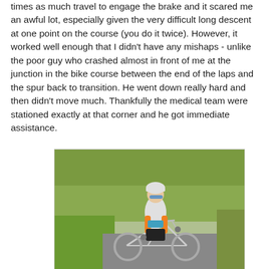times as much travel to engage the brake and it scared me an awful lot, especially given the very difficult long descent at one point on the course (you do it twice).  However, it worked well enough that I didn't have any mishaps - unlike the poor guy who crashed almost in front of me at the junction in the bike course between the end of the laps and the spur back to transition.  He went down really hard and then didn't move much.  Thankfully the medical team were stationed exactly at that corner and he got immediate assistance.
[Figure (photo): A cyclist in a white and orange jersey, black shorts, wearing a white helmet and blue sunglasses, riding a road bicycle on a road. Green trees and grass visible in the background.]